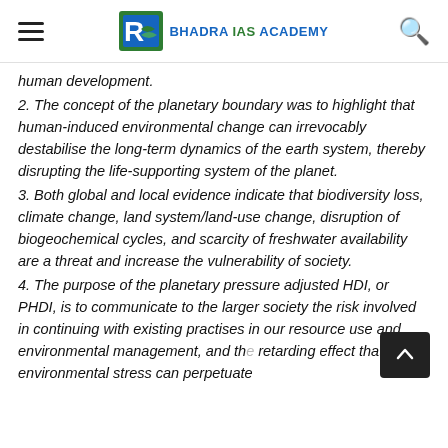BHADRA IAS ACADEMY
human development.
2. The concept of the planetary boundary was to highlight that human-induced environmental change can irrevocably destabilise the long-term dynamics of the earth system, thereby disrupting the life-supporting system of the planet.
3. Both global and local evidence indicate that biodiversity loss, climate change, land system/land-use change, disruption of biogeochemical cycles, and scarcity of freshwater availability are a threat and increase the vulnerability of society.
4. The purpose of the planetary pressure adjusted HDI, or PHDI, is to communicate to the larger society the risk involved in continuing with existing practises in our resource use and environmental management, and the retarding effect that environmental stress can perpetuate